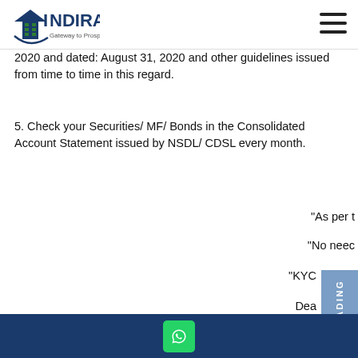INDIRA - Gateway to Prosperity
2020 and dated: August 31, 2020 and other guidelines issued from time to time in this regard.
5. Check your Securities/ MF/ Bonds in the Consolidated Account Statement issued by NSDL/ CDSL every month.
"As per t
"No neec
"KYC
Dea
[Figure (other): ALGO TRADING vertical sidebar tab in blue]
WhatsApp button in footer bar